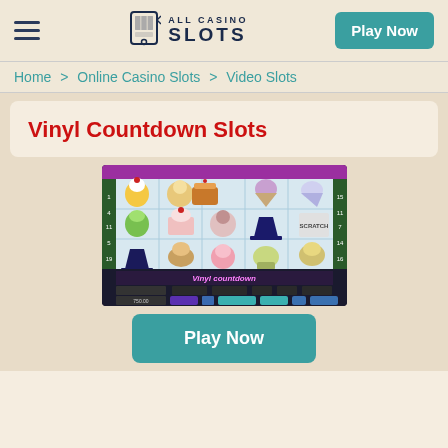ALL CASINO SLOTS — Play Now
Home > Online Casino Slots > Video Slots
Vinyl Countdown Slots
[Figure (screenshot): Screenshot of the Vinyl Countdown Slots game showing a 5-reel slot machine with colorful food and character symbols, game controls at the bottom.]
Play Now